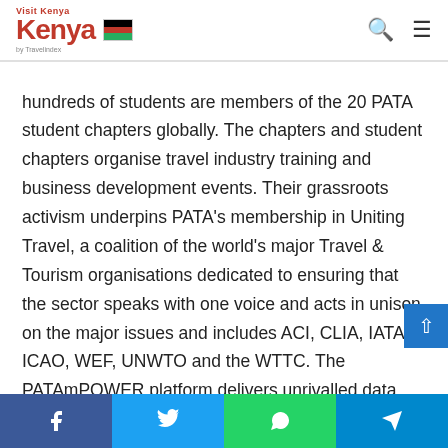Visit Kenya by Travelindex
hundreds of students are members of the 20 PATA student chapters globally. The chapters and student chapters organise travel industry training and business development events. Their grassroots activism underpins PATA's membership in Uniting Travel, a coalition of the world's major Travel & Tourism organisations dedicated to ensuring that the sector speaks with one voice and acts in unison on the major issues and includes ACI, CLIA, IATA, ICAO, WEF, UNWTO and the WTTC. The PATAmPOWER platform delivers unrivalled data, forecasts and insights from the PATA Strategic Intelligence Centre to members' desktops and mobile devices anywhere in the world. PATA's Head Office has been in Bangkok since 1998. The Association also has official offices or
Facebook | Twitter | WhatsApp | Telegram